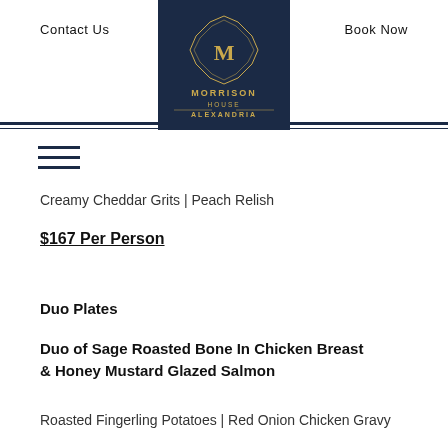Contact Us  |  Book Now
[Figure (logo): Morrison House Alexandria Virginia Autograph Collection Hotels logo on dark navy background]
Creamy Cheddar Grits | Peach Relish
$167 Per Person
Duo Plates
Duo of Sage Roasted Bone In Chicken Breast & Honey Mustard Glazed Salmon
Roasted Fingerling Potatoes | Red Onion Chicken Gravy